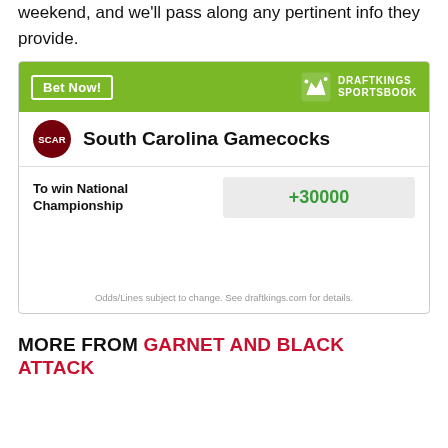Elliott, will be on hand to get a close-up view all weekend, and we'll pass along any pertinent info they provide.
[Figure (infographic): DraftKings Sportsbook widget showing South Carolina Gamecocks odds to win National Championship at +30000]
MORE FROM GARNET AND BLACK ATTACK